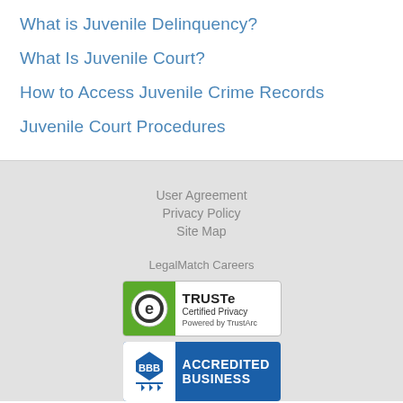What is Juvenile Delinquency?
What Is Juvenile Court?
How to Access Juvenile Crime Records
Juvenile Court Procedures
User Agreement
Privacy Policy
Site Map
LegalMatch Careers
[Figure (logo): TRUSTe Certified Privacy Powered by TrustArc badge]
[Figure (logo): BBB Accredited Business badge]